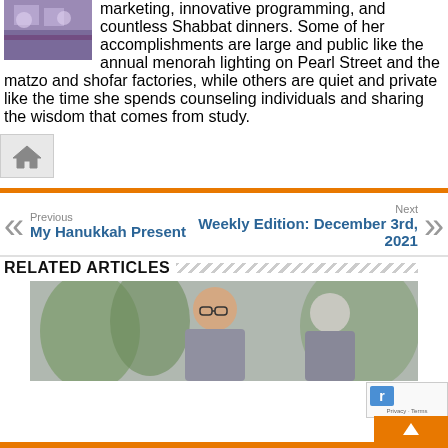marketing, innovative programming, and countless Shabbat dinners. Some of her accomplishments are large and public like the annual menorah lighting on Pearl Street and the matzo and shofar factories, while others are quiet and private like the time she spends counseling individuals and sharing the wisdom that comes from study.
[Figure (photo): Small photo of people at a table with purple tablecloth]
[Figure (illustration): Home/house icon button]
Previous
My Hanukkah Present
Next
Weekly Edition: December 3rd, 2021
RELATED ARTICLES
[Figure (photo): Two older men talking outdoors near trees]